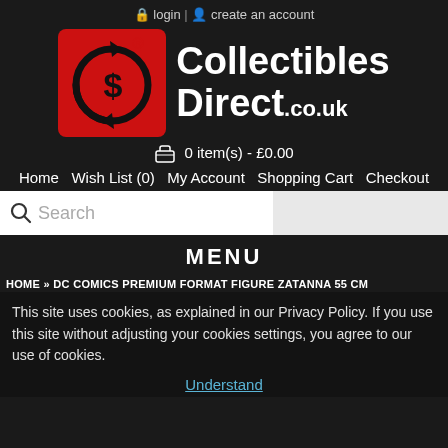login | create an account
[Figure (logo): CollectiblesDirect.co.uk logo with red square and circular arrow/dollar icon]
0 item(s) - £0.00
Home   Wish List (0)   My Account   Shopping Cart   Checkout
Search
MENU
HOME » DC COMICS PREMIUM FORMAT FIGURE ZATANNA 55 CM
This site uses cookies, as explained in our Privacy Policy. If you use this site without adjusting your cookies settings, you agree to our use of cookies.
Understand